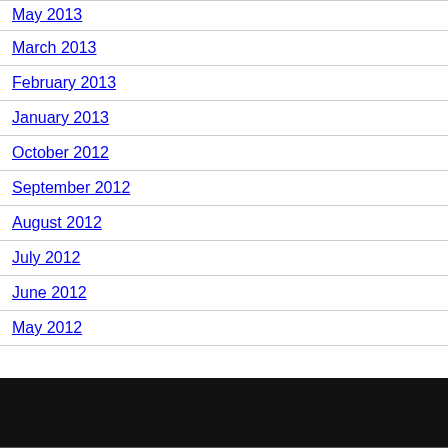May 2013
March 2013
February 2013
January 2013
October 2012
September 2012
August 2012
July 2012
June 2012
May 2012